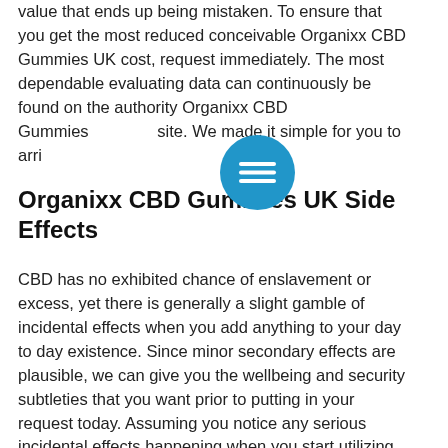value that ends up being mistaken. To ensure that you get the most reduced conceivable Organixx CBD Gummies UK cost, request immediately. The most dependable evaluating data can continuously be found on the authority Organixx CBD Gummies site. We made it simple for you to arri...
[Figure (other): Blue circular menu button with three horizontal white lines (hamburger/menu icon)]
Organixx CBD Gummies UK Side Effects
CBD has no exhibited chance of enslavement or excess, yet there is generally a slight gamble of incidental effects when you add anything to your day to day existence. Since minor secondary effects are plausible, we can give you the wellbeing and security subtleties that you want prior to putting in your request today. Assuming you notice any serious incidental effects happening when you start utilizing the Organixx CBD Gummies UK, stop use and talk with your primary care physician immediately. There are additionally certain individuals who talk with a clinical expert